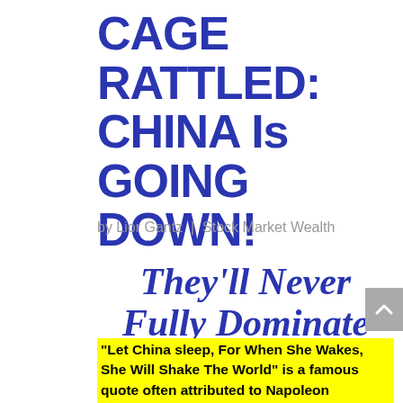CAGE RATTLED: CHINA Is GOING DOWN!
by Lior Gantz | Stock Market Wealth
They'll Never Fully Dominate
“Let China sleep, For When She Wakes, She Will Shake The World” is a famous quote often attributed to Napoleon Bonaparte, and whether or not he really said it, for the past 40 years, we’ve seen this country bounce back from abject poverty and into global supremacy, in the most dramatic